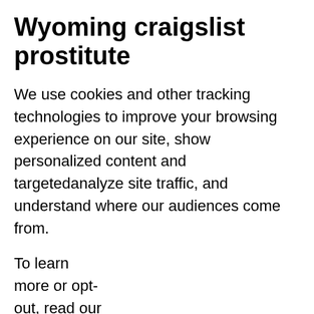Wyoming craigslist prostitute
We use cookies and other tracking technologies to improve your browsing experience on our site, show personalized content and targetedanalyze site traffic, and understand where our audiences come from.
To learn more or opt-out, read our Cookie Policy. AP — Authorities say a Casper woman was assaulted at her front door, raped